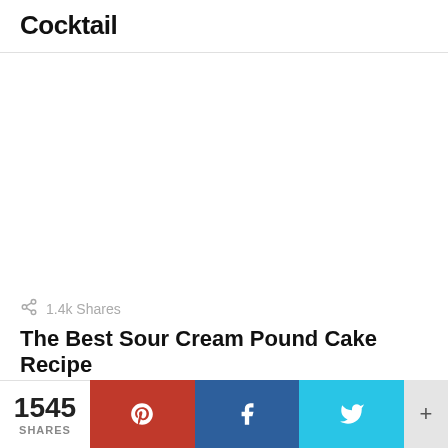Cocktail
1.4k Shares
The Best Sour Cream Pound Cake Recipe
1545 SHARES